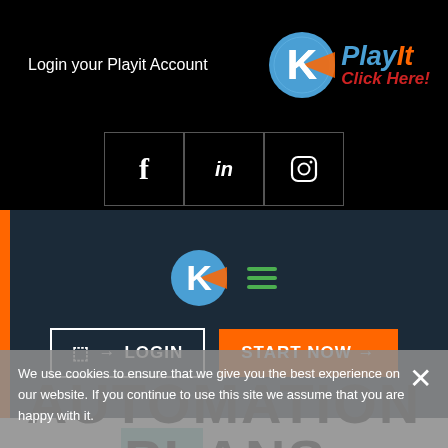Login your Playit Account — PlayIt Click Here!
[Figure (logo): PlayIt logo with K circle and social icons (Facebook, LinkedIn, Instagram) on black header bar]
[Figure (logo): K circle logo with hamburger menu icon in dark navy navigation bar]
LOGIN   START NOW
We use cookies to ensure that we give you the best experience on our website. If you continue to use this site we assume that you are happy with it.
AUTOMATION PLANS